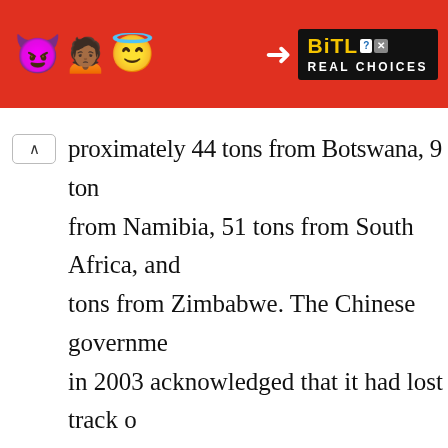[Figure (screenshot): Advertisement banner for BitLife game with emoji characters (devil, person, angel/smiley) on red background with 'BitLife REAL CHOICES' text in black and yellow]
proximately 44 tons from Botswana, 9 tons from Namibia, 51 tons from South Africa, and tons from Zimbabwe. The Chinese government in 2003 acknowledged that it had lost track of 121 tons of ivory between 1991 and 2002.
TRAFFIC Data
ADVERTISEMENT
[Figure (screenshot): Bottom advertisement banner, partially visible, pink/red background]